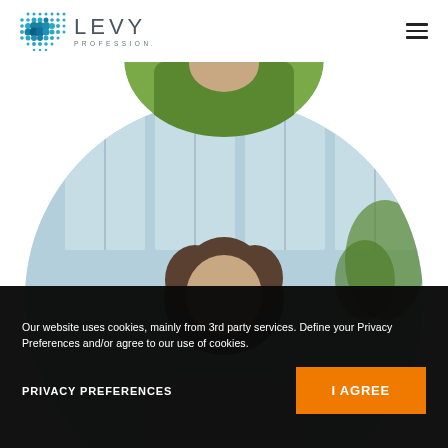[Figure (logo): Levy Professionals logo with teal dot-grid icon and grey text]
[Figure (photo): Person in green shirt, shown partially in circular crop at top]
[Figure (photo): Person with curly hair in professional setting, shown in large circular crop]
Our website uses cookies, mainly from 3rd party services. Define your Privacy Preferences and/or agree to our use of cookies.
PRIVACY PREFERENCES
I AGREE